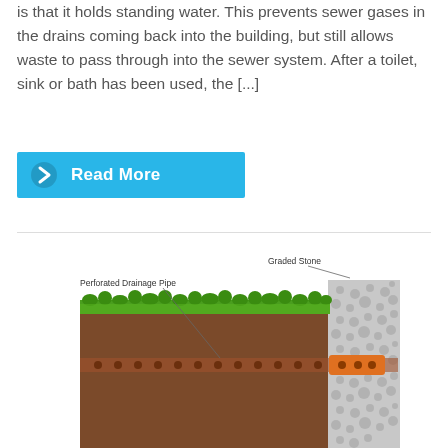is that it holds standing water. This prevents sewer gases in the drains coming back into the building, but still allows waste to pass through into the sewer system. After a toilet, sink or bath has been used, the [...]
Read More
[Figure (illustration): Cross-section diagram showing a perforated drainage pipe system with graded stone fill. Labels point to 'Graded Stone' at the top and 'Perforated Drainage Pipe' on the left. The diagram shows layers of grass on top, soil/earth in a cross-section view, gravel/stone fill column on the right side, and a horizontal perforated pipe running through the soil at mid-depth.]